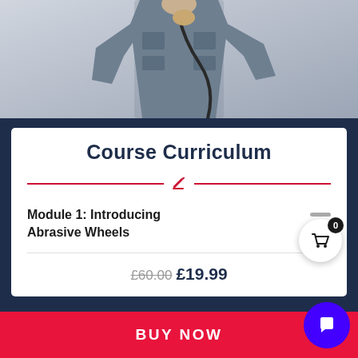[Figure (photo): Person wearing a grey utility vest holding a cable/cord, viewed from torso up against a light grey/white background]
Course Curriculum
Module 1: Introducing Abrasive Wheels
£60.00 £19.99
BUY NOW